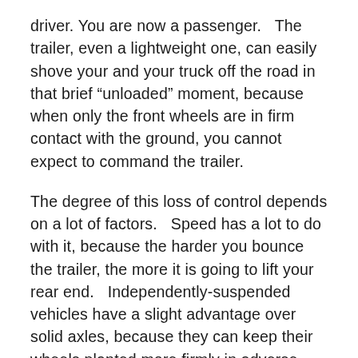driver. You are now a passenger.   The trailer, even a lightweight one, can easily shove your and your truck off the road in that brief “unloaded” moment, because when only the front wheels are in firm contact with the ground, you cannot expect to command the trailer.
The degree of this loss of control depends on a lot of factors.   Speed has a lot to do with it, because the harder you bounce the trailer, the more it is going to lift your rear end.   Independently-suspended vehicles have a slight advantage over solid axles, because they can keep their wheels planted more firmly in adverse handling conditions.
Heavier vehicles are harder to lift, but don’t think that’s going to save you. A typical Airstream with 800 lbs of tongue weight has the power to send your truck...